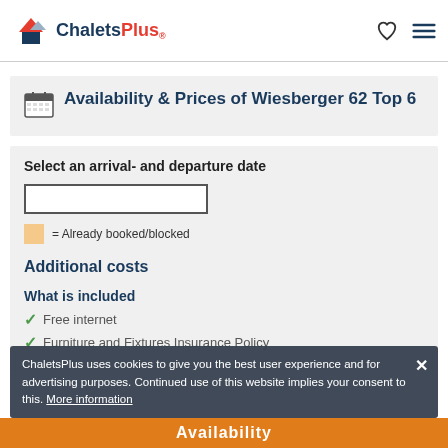ChaletsPLus® [logo with heart and hamburger menu]
Availability & Prices of Wiesberger 62 Top 6
Select an arrival- and departure date
= Already booked/blocked
Additional costs
What is included
Free internet
Furniture and Fixtures Insurance Policy
ChaletsPlus uses cookies to give you the best user experience and for advertising purposes. Continued use of this website implies your consent to this. More information
Availability